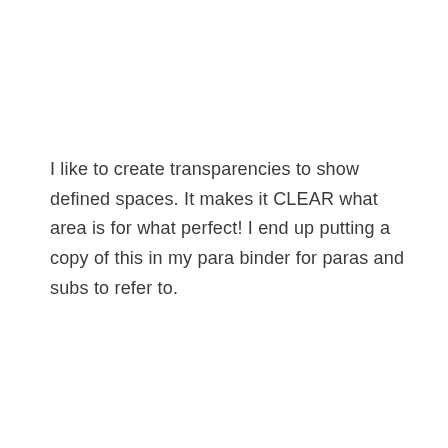I like to create transparencies to show defined spaces. It makes it CLEAR what area is for what perfect! I end up putting a copy of this in my para binder for paras and subs to refer to.